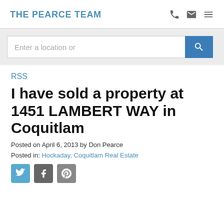THE PEARCE TEAM
[Figure (screenshot): Search bar with text 'Enter a location or' and a blue search button with magnifying glass icon]
RSS
I have sold a property at 1451 LAMBERT WAY in Coquitlam
Posted on April 6, 2013 by Don Pearce
Posted in: Hockaday, Coquitlam Real Estate
[Figure (other): Social media share icons: Twitter (blue bird), Facebook (grey), Pinterest (grey)]